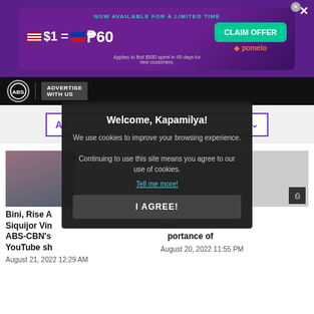[Figure (screenshot): Advertisement banner for Pomelo currency exchange: NOW AVAILABLE FOR A LIMITED TIME, $1 = ₱60, CLAIM OFFER button, Applies to first $500 spent in 45 days for new customers. Pomelo logo.]
[Figure (screenshot): Navigation bar with ABS-CBN logo circle and ADVERTISE WITH US button on black background.]
[Figure (screenshot): Filter dropdown showing 'All' in purple text with chevron, purple border.]
[Figure (screenshot): Article thumbnails grid: left shows photo of woman, right shows gray placeholder with document icon. Article titles partially visible: 'Bini, Rise A... Siquijor Vin... ABS-CBN's... YouTube sh...' and '...n's Dear Yarn" ...portance of'. Dates: August 21, 2022 12:29 AM and August 20, 2022 11:55 PM.]
[Figure (screenshot): Cookie consent modal dialog: 'Welcome, Kapamilya!' title, 'We use cookies to improve your browsing experience. Continuing to use this site means you agree to our use of cookies.' text, 'Tell me more!' link, 'I AGREE!' button.]